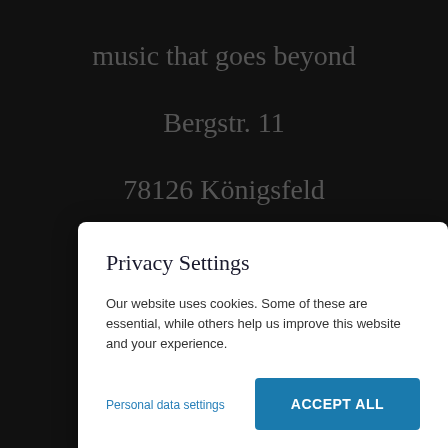music that goes beyond
Bergstr. 11
78126 Königsfeld
Germany
Privacy Settings
Our website uses cookies. Some of these are essential, while others help us improve this website and your experience.
Personal data settings
ACCEPT ALL